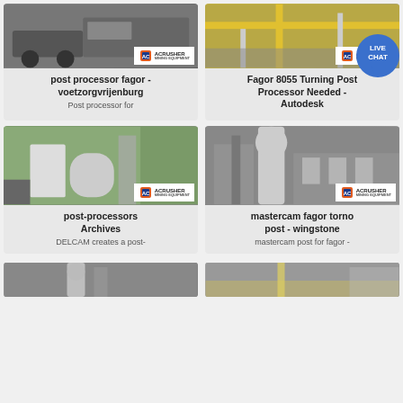[Figure (photo): Mining truck photo with ACRUSHER Mining Equipment logo badge]
post processor fagor - voetzorgvrijenburg
Post processor for
[Figure (photo): Yellow crane/gantry photo with ACRUSHER Mining Equipment logo badge and LIVE CHAT bubble]
Fagor 8055 Turning Post Processor Needed - Autodesk
[Figure (photo): Industrial grinding mill photo with ACRUSHER Mining Equipment logo badge]
post-processors Archives
DELCAM creates a post-
[Figure (photo): Industrial silo/filter photo with ACRUSHER Mining Equipment logo badge]
mastercam fagor torno post - wingstone
mastercam post for fagor -
[Figure (photo): Bottom left partial photo of industrial equipment]
[Figure (photo): Bottom right partial photo of industrial aggregates site]